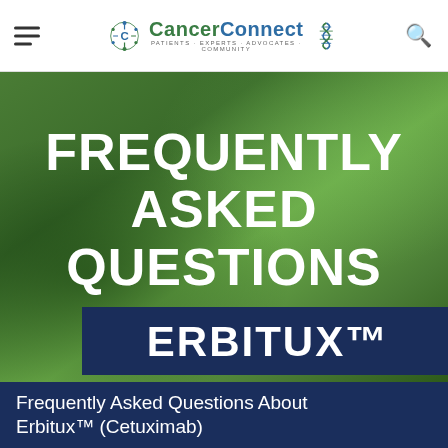CancerConnect — Patients · Experts · Advocates · Community
[Figure (illustration): CancerConnect logo with blue snowflake/gear icon and DNA helix graphic on right, navigation bar with hamburger menu on left and search icon on right]
FREQUENTLY ASKED QUESTIONS
ERBITUX™
Frequently Asked Questions About Erbitux™ (Cetuximab)